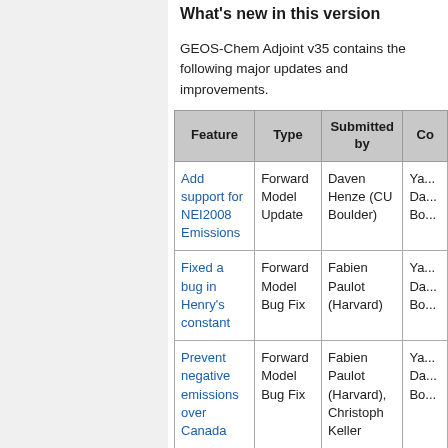What's new in this version
GEOS-Chem Adjoint v35 contains the following major updates and improvements.
| Feature | Type | Submitted by | Co... |
| --- | --- | --- | --- |
| Add support for NEI2008 Emissions | Forward Model Update | Daven Henze (CU Boulder) | Ya... Da... Bo... |
| Fixed a bug in Henry's constant | Forward Model Bug Fix | Fabien Paulot (Harvard) | Ya... Da... Bo... |
| Prevent negative emissions over Canada | Forward Model Bug Fix | Fabien Paulot (Harvard), Christoph Keller | Ya... Da... Bo... |